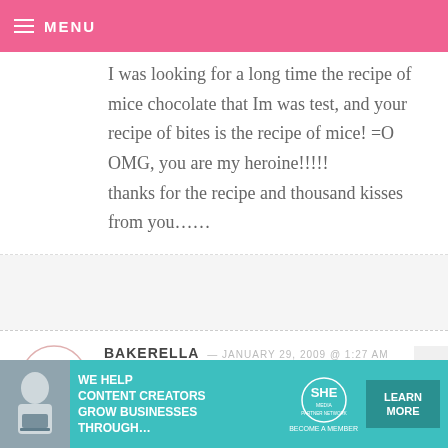MENU
I was looking for a long time the recipe of mice chocolate that Im was test, and your recipe of bites is the recipe of mice! =O
OMG, you are my heroine!!!!!
thanks for the recipe and thousand kisses from you……
BAKERELLA — JANUARY 29, 2009 @ 1:27 AM
REPLY
Stacey – Good luck.
[Figure (infographic): SHE Partner Network advertisement banner: WE HELP CONTENT CREATORS GROW BUSINESSES THROUGH... with LEARN MORE button]